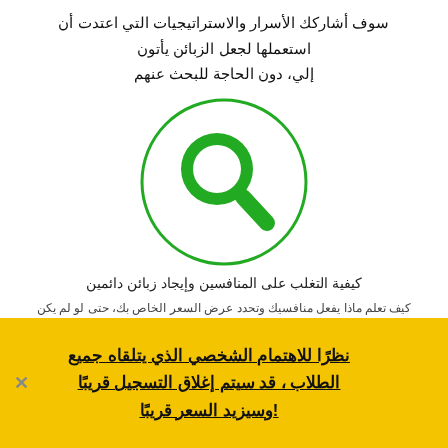سوف أشاركك الأسرار والاستراتيجيات التي اعتدت أن استعملها لجعل الزبائن يأتون إلي، دون الحاجة للبحث عنهم
[Figure (illustration): Green search magnifying glass icon inside a green circle outline on white background]
كيفية التغلب على المنافسين وإيجاد زبائن دائمين
كيف تعلم ماذا يفعل منافسيك وتحدد عرض السعر الخاص بك، حتى لو لم يكن
نظرًا للاهتمام الشخصي الذي يتلقاه جميع الطلاب ، قد سيتم إغلاق التسجيل قريبًا !وسيزيد السعر قريبًا